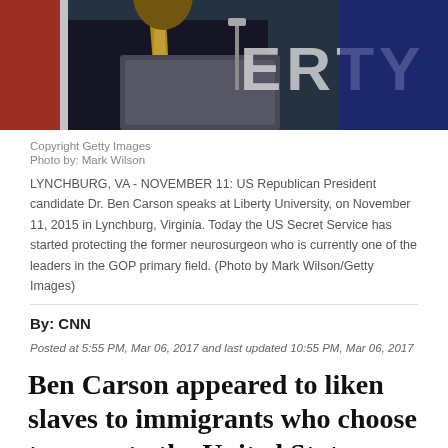[Figure (photo): US Republican President candidate Dr. Ben Carson speaks at a podium at Liberty University. A man in a dark suit and gold tie is visible at a lectern, with partial text visible in the background.]
Copyright Getty Images
Photo by: Mark Wilson
LYNCHBURG, VA - NOVEMBER 11: US Republican President candidate Dr. Ben Carson speaks at Liberty University, on November 11, 2015 in Lynchburg, Virginia. Today the US Secret Service has started protecting the former neurosurgeon who is currently one of the leaders in the GOP primary field. (Photo by Mark Wilson/Getty Images)
By: CNN
Posted at 5:55 PM, Mar 06, 2017 and last updated 10:55 PM, Mar 06, 2017
Ben Carson appeared to liken slaves to immigrants who choose to come to the United States while addressing employees at the Department of Housing and Urban Development Monday.